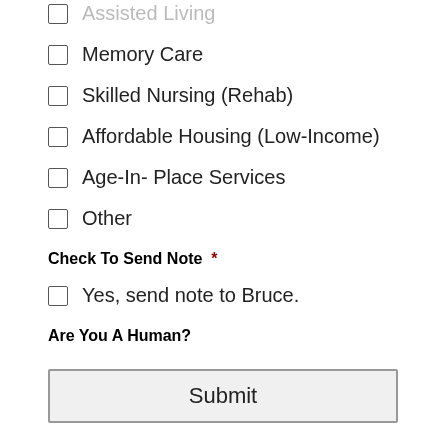Assisted Living
Memory Care
Skilled Nursing (Rehab)
Affordable Housing (Low-Income)
Age-In- Place Services
Other
Check To Send Note *
Yes, send note to Bruce.
Are You A Human?
Submit